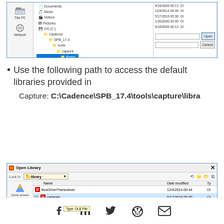[Figure (screenshot): File browser dialog showing folder tree with Cadence/SPB_17.4/tools/capture/library path selected, with date modified column showing dates like 8/18/2009, 12/4/2014, 5/17/2019, 1/20/2020, and Open/Cancel buttons]
Use the following path to access the default libraries provided in
Capture: C:\Cadence\SPB_17.4\tools\capture\libra
[Figure (screenshot): Open Library dialog showing library folder contents with BusDriverTransceiver, capsym (selected/highlighted), and Connector entries with dates 12/4/2014, 5/17/2019, 1/20/2020 and a tooltip showing Type: OLB File]
[Figure (other): Social media icons: Facebook, LinkedIn, Twitter, Reddit, Email]